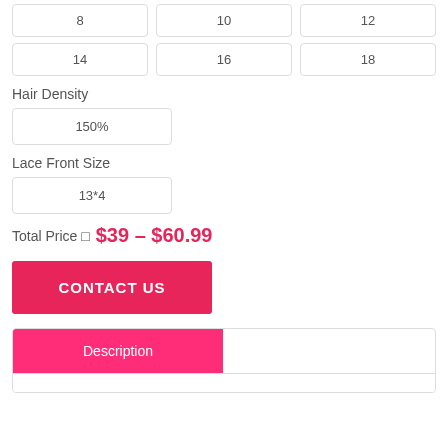8   10   12
14   16   18
Hair Density
150%
Lace Front Size
13*4
Total Price □  $39 – $60.99
CONTACT US
Description